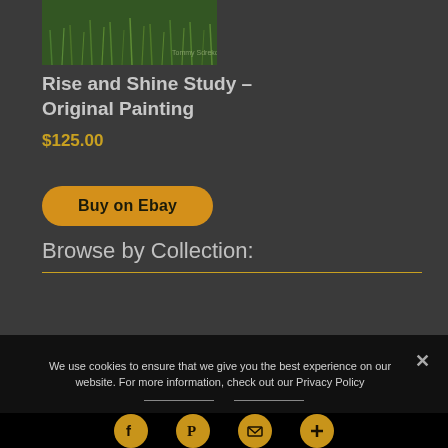[Figure (photo): Thumbnail image of a painting showing green grass with a small text signature visible]
Rise and Shine Study – Original Painting
$125.00
Buy on Ebay
Browse by Collection:
We use cookies to ensure that we give you the best experience on our website. For more information, check out our Privacy Policy
[Figure (illustration): Social media share icons: Facebook, Pinterest, Email, More (plus sign) — gold circles on black background]